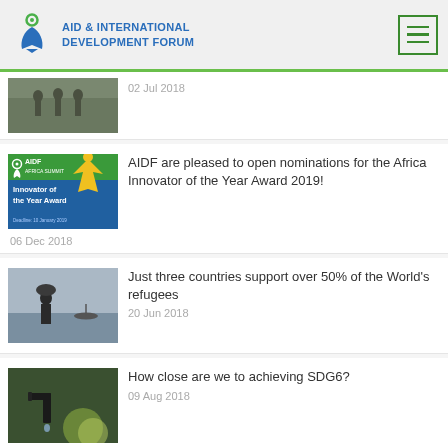AID & INTERNATIONAL DEVELOPMENT FORUM
[Figure (photo): Partially visible thumbnail of people walking]
02 Jul 2018
[Figure (illustration): AIDF Africa Summit - Innovator of the Year Award banner]
AIDF are pleased to open nominations for the Africa Innovator of the Year Award 2019!
06 Dec 2018
[Figure (photo): A person carrying a bundle near water with a boat in the background]
Just three countries support over 50% of the World's refugees
20 Jun 2018
[Figure (photo): Close-up of a water tap with blurred green background]
How close are we to achieving SDG6?
09 Aug 2018
[Figure (photo): Partially visible thumbnail at bottom]
World Toilet Day – 19